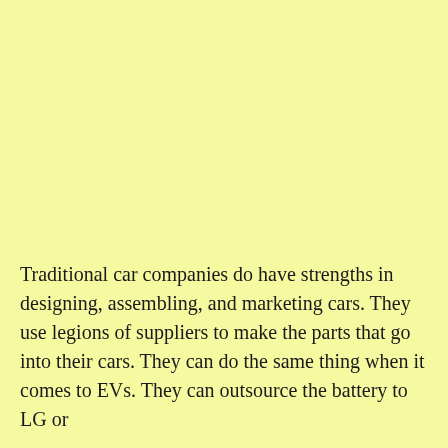Traditional car companies do have strengths in designing, assembling, and marketing cars. They use legions of suppliers to make the parts that go into their cars. They can do the same thing when it comes to EVs. They can outsource the battery to LG or